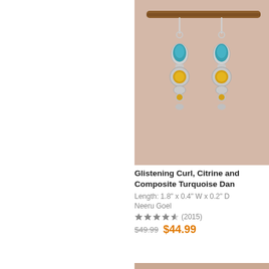[Figure (photo): Two silver dangle earrings with turquoise teardrop stones at top, citrine round stones in middle, and smaller stones at bottom, hanging from a wooden branch against a warm beige background.]
Glistening Curl, Citrine and Composite Turquoise Dan
Length: 1.8" x 0.4" W x 0.2" D
Neeru Goel
★★★★☆ (2015)
$49.99  $44.99